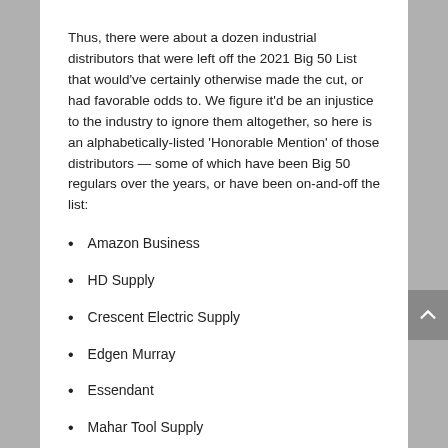Thus, there were about a dozen industrial distributors that were left off the 2021 Big 50 List that would've certainly otherwise made the cut, or had favorable odds to. We figure it'd be an injustice to the industry to ignore them altogether, so here is an alphabetically-listed 'Honorable Mention' of those distributors — some of which have been Big 50 regulars over the years, or have been on-and-off the list:
Amazon Business
HD Supply
Crescent Electric Supply
Edgen Murray
Essendant
Mahar Tool Supply